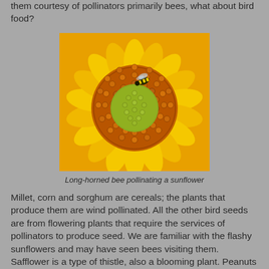them courtesy of pollinators primarily bees, what about bird food?
[Figure (photo): Close-up photograph of a long-horned bee pollinating a sunflower, showing the golden yellow petals and detailed center disc of the sunflower with a bee visible on it.]
Long-horned bee pollinating a sunflower
Millet, corn and sorghum are cereals; the plants that produce them are wind pollinated. All the other bird seeds are from flowering plants that require the services of pollinators to produce seed. We are familiar with the flashy sunflowers and may have seen bees visiting them. Safflower is a type of thistle, also a blooming plant. Peanuts are members of the